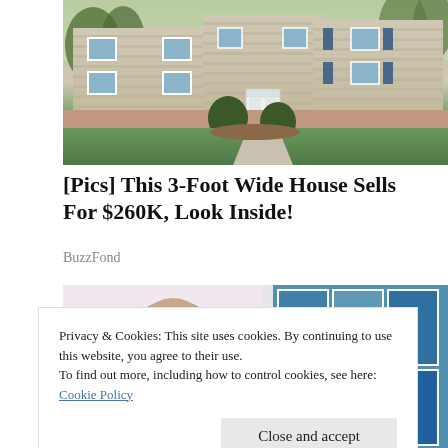[Figure (photo): Exterior photo of a large two-story colonial-style house with beige siding, dark shutters, white front door, evergreen shrubs, and a green lawn.]
[Pics] This 3-Foot Wide House Sells For $260K, Look Inside!
BuzzFond
[Figure (photo): Partial photo of a person with a green head covering, with blue color swatches visible in the background.]
Privacy & Cookies: This site uses cookies. By continuing to use this website, you agree to their use.
To find out more, including how to control cookies, see here: Cookie Policy
Close and accept